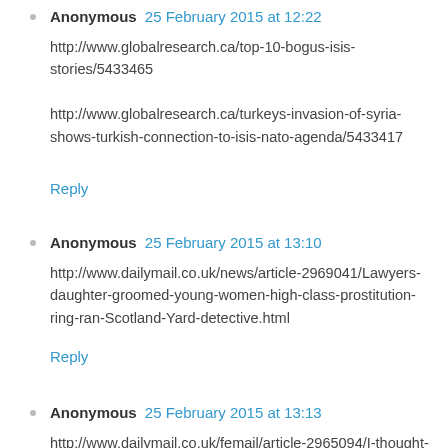Anonymous  25 February 2015 at 12:22
http://www.globalresearch.ca/top-10-bogus-isis-stories/5433465

http://www.globalresearch.ca/turkeys-invasion-of-syria-shows-turkish-connection-to-isis-nato-agenda/5433417
Reply
Anonymous  25 February 2015 at 13:10
http://www.dailymail.co.uk/news/article-2969041/Lawyers-daughter-groomed-young-women-high-class-prostitution-ring-ran-Scotland-Yard-detective.html
Reply
Anonymous  25 February 2015 at 13:13
http://www.dailymail.co.uk/femail/article-2965094/I-thought-parents-send-orphanage-Agony-man-suffered-years-mickey-mouse-club-prosecution-and-NINE.html